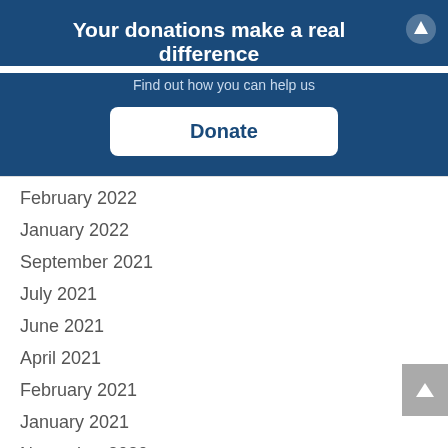Your donations make a real difference
Find out how you can help us
Donate
February 2022
January 2022
September 2021
July 2021
June 2021
April 2021
February 2021
January 2021
November 2020
September 2020